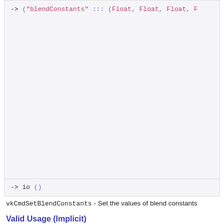[Figure (screenshot): Code block showing: -> ("blendConstants" ::: (Float, Float, Float, F...]
[Figure (screenshot): Code block showing: -> io ()]
vkCmdSetBlendConstants - Set the values of blend constants
Valid Usage (Implicit)
commandBuffer must be a valid CommandBuffer handle
commandBuffer must be in the recording state
The CommandPool that commandBuffer was allocated from must support graphics operations.